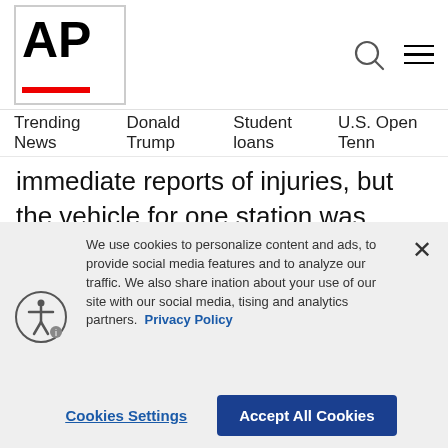AP
Trending News  Donald Trump  Student loans  U.S. Open Tenn
immediate reports of injuries, but the vehicle for one station was struck by bullets.
ADVERTISEMENT
[Figure (logo): AP advertisement banner with AP logo on white background and maroon dotted pattern]
We use cookies to personalize content and ads, to provide social media features and to analyze our traffic. We also share information about your use of our site with our social media, advertising and analytics partners. Privacy Policy
Cookies Settings
Accept All Cookies